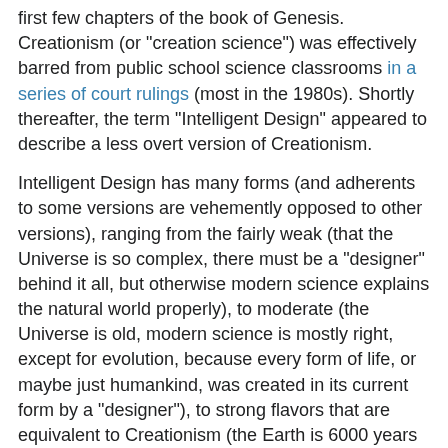first few chapters of the book of Genesis. Creationism (or "creation science") was effectively barred from public school science classrooms in a series of court rulings (most in the 1980s). Shortly thereafter, the term "Intelligent Design" appeared to describe a less overt version of Creationism.
Intelligent Design has many forms (and adherents to some versions are vehemently opposed to other versions), ranging from the fairly weak (that the Universe is so complex, there must be a "designer" behind it all, but otherwise modern science explains the natural world properly), to moderate (the Universe is old, modern science is mostly right, except for evolution, because every form of life, or maybe just humankind, was created in its current form by a "designer"), to strong flavors that are equivalent to Creationism (the Earth is 6000 years old, and any science that doesn't espouse this view is just wrong). And Intelligent Design backers have written scientific-sounding books (like Of Pandas and People), have a scientific-sounding institute (the Discovery Institute), and even have a few PhD scientists behind the idea. But none of this makes Intelligent Design scientific, let alone a true scientific theory.